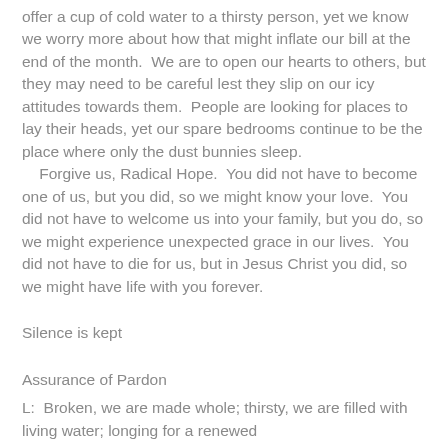offer a cup of cold water to a thirsty person, yet we know we worry more about how that might inflate our bill at the end of the month.  We are to open our hearts to others, but they may need to be careful lest they slip on our icy attitudes towards them.  People are looking for places to lay their heads, yet our spare bedrooms continue to be the place where only the dust bunnies sleep.
   Forgive us, Radical Hope.  You did not have to become one of us, but you did, so we might know your love.  You did not have to welcome us into your family, but you do, so we might experience unexpected grace in our lives.  You did not have to die for us, but in Jesus Christ you did, so we might have life with you forever.
Silence is kept
Assurance of Pardon
L:  Broken, we are made whole; thirsty, we are filled with living water; longing for a renewed